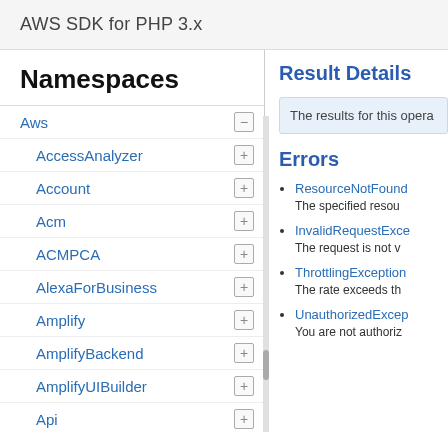AWS SDK for PHP 3.x
Namespaces
Aws
AccessAnalyzer
Account
Acm
ACMPCA
AlexaForBusiness
Amplify
AmplifyBackend
AmplifyUIBuilder
Api
ApiGateway
ApiGatewayManagementApi
Result Details
The results for this opera
Errors
ResourceNotFound
The specified resou
InvalidRequestExce
The request is not v
ThrottlingException
The rate exceeds th
UnauthorizedExcep
You are not authoriz